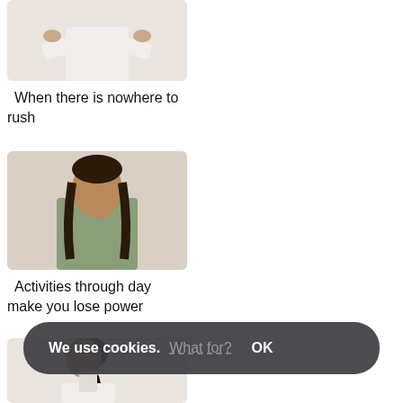[Figure (photo): Woman in white shirt, cropped at top, arms raised]
When there is nowhere to rush
[Figure (photo): Woman in striped shirt applying hand cream or spray]
[Figure (photo): Woman in green striped blazer yawning, hand near mouth]
Preparing a basis for makeup
Activities through day make you lose power
[Figure (photo): Woman in pink top looking surprised, hands crossed at chest]
Ethnicity
[Figure (photo): Woman in white shirt drinking from cup, hair in ponytail]
[Figure (photo): Woman partially visible, hair in bun, wearing pink]
A truly serene moment
We use cookies. What for? OK